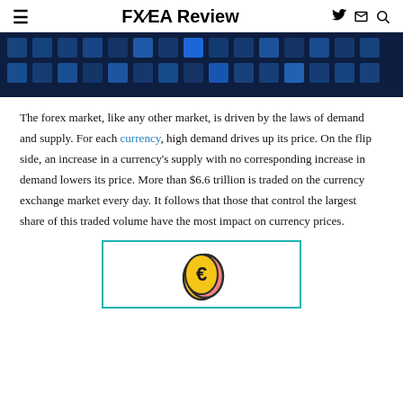FXEA Review
[Figure (photo): Dark blue mosaic/pixel pattern header banner image]
The forex market, like any other market, is driven by the laws of demand and supply. For each currency, high demand drives up its price. On the flip side, an increase in a currency’s supply with no corresponding increase in demand lowers its price. More than $6.6 trillion is traded on the currency exchange market every day. It follows that those that control the largest share of this traded volume have the most impact on currency prices.
[Figure (illustration): Illustration of a coin with currency symbol, yellow and pink colored, inside a teal-bordered white box]